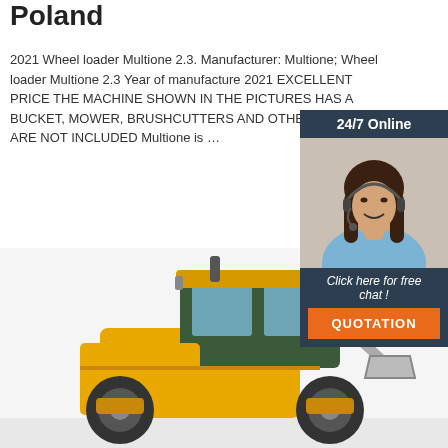Poland
2021 Wheel loader Multione 2.3. Manufacturer: Multione; Wheel loader Multione 2.3 Year of manufacture 2021 EXCELLENT PRICE THE MACHINE SHOWN IN THE PICTURES HAS A BUCKET, MOWER, BRUSHCUTTERS AND OTHER OPTIONS ARE NOT INCLUDED Multione is …
[Figure (other): Get Price orange button]
[Figure (other): 24/7 online chat widget with woman wearing headset, 'Click here for free chat!' text and QUOTATION button]
[Figure (photo): Yellow wheel loader machine photographed from the side, cab and front body visible]